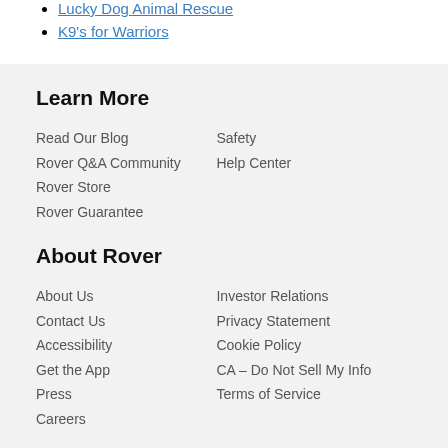Lucky Dog Animal Rescue
K9's for Warriors
Learn More
Read Our Blog
Rover Q&A Community
Rover Store
Rover Guarantee
Safety
Help Center
About Rover
About Us
Contact Us
Accessibility
Get the App
Press
Careers
Investor Relations
Privacy Statement
Cookie Policy
CA – Do Not Sell My Info
Terms of Service
Get cute puppies in your inbox